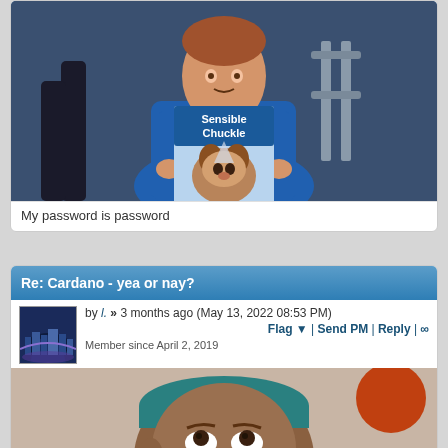[Figure (photo): A man in a blue turtleneck holding up a magazine called 'Sensible Chuckle' featuring a dog on the cover, seated in a TV studio setting]
My password is password
Re: Cardano - yea or nay?
by l. » 3 months ago (May 13, 2022 08:53 PM)
Flag ▼ | Send PM | Reply | ∞
Member since April 2, 2019
[Figure (photo): Close-up photo of a person with a skeptical or unamused expression, wearing a teal/green cap]